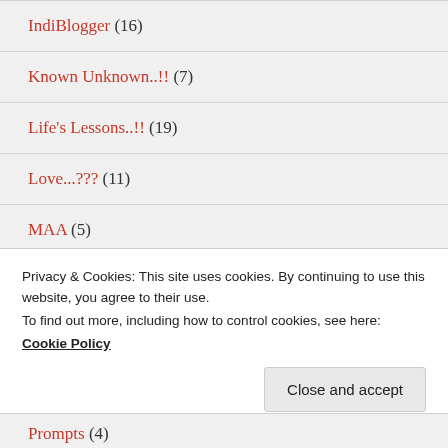IndiBlogger (16)
Known Unknown..!! (7)
Life's Lessons..!! (19)
Love...??? (11)
MAA (5)
Micro-Fiction (3)
Personal (...)
Privacy & Cookies: This site uses cookies. By continuing to use this website, you agree to their use.
To find out more, including how to control cookies, see here: Cookie Policy
Prompts (4)